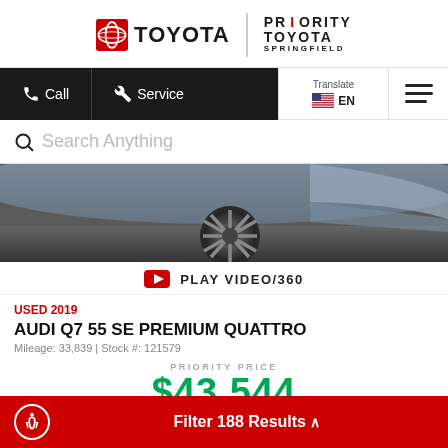[Figure (logo): Toyota logo with Priority Toyota Springfield branding]
Call | Service | Translate EN | Menu
Search Anything
[Figure (photo): Close-up photo of a vehicle wheel and lower body panel]
PLAY VIDEO/360
USED 2019
AUDI Q7 55 SE PREMIUM QUATTRO
Mileage: 33,839 | Stock #: 121579
PRIORITY PRICE
$43,544
Filter 188 Results ^